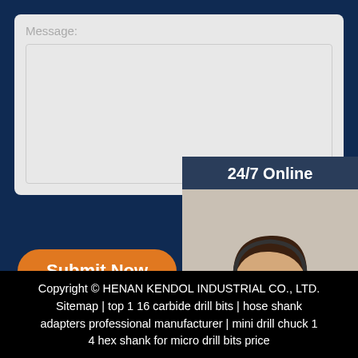Message:
[Figure (screenshot): Contact form with message text area, submit now button, and 24/7 online chat panel with customer service representative photo]
Submit Now
24/7 Online
Click here for free chat !
QUOTATION
Copyright © HENAN KENDOL INDUSTRIAL CO., LTD. Sitemap | top 1 16 carbide drill bits | hose shank adapters professional manufacturer | mini drill chuck 1 4 hex shank for micro drill bits price